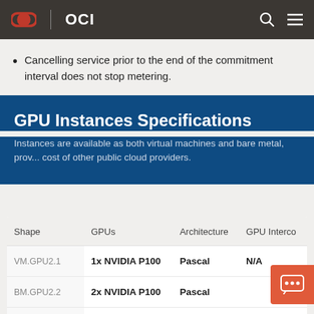OCI
Cancelling service prior to the end of the commitment interval does not stop metering.
GPU Instances Specifications
Instances are available as both virtual machines and bare metal, prov... cost of other public cloud providers.
| Shape | GPUs | Architecture | GPU Interco |
| --- | --- | --- | --- |
| VM.GPU2.1 | 1x NVIDIA P100 | Pascal | N/A |
| BM.GPU2.2 | 2x NVIDIA P100 | Pascal |  |
| VM.GPU3.1 |  |  |  |